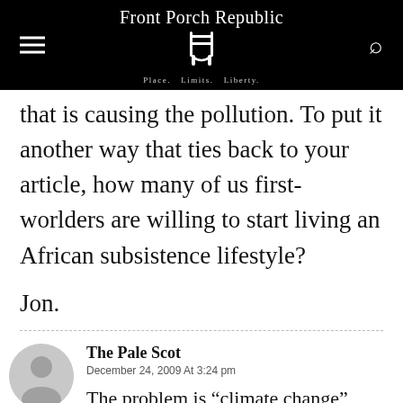Front Porch Republic — Place. Limits. Liberty.
that is causing the pollution. To put it another way that ties back to your article, how many of us first-worlders are willing to start living an African subsistence lifestyle?
Jon.
The Pale Scot — December 24, 2009 At 3:24 pm — The problem is “climate change”, NOT “global warming”;